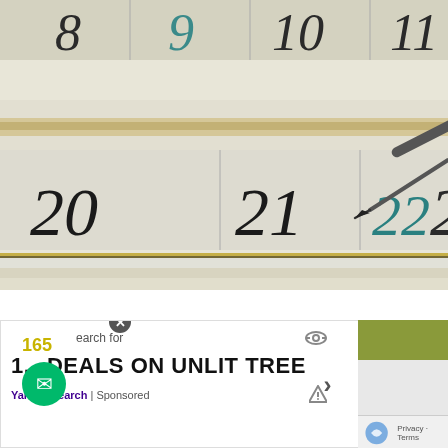[Figure (photo): Close-up photograph of a calendar or book page showing handwritten numbers 8, 9, 10, 11 at the top and 20, 21, 22 in cursive/handwritten style. A pencil or pen tip is visible pointing at number 22. There are gold/metallic ribbon borders on the page, and a white ribbon/band across the middle.]
[Figure (screenshot): Advertisement overlay showing a close X button, search prompt text 'Search for', an eye/privacy icon, list item '1. DEALS ON UNLIT TREE' with a right arrow, and footer 'Yahoo! Search | Sponsored'. Side panels show green/nature imagery. A green chat button and reCAPTCHA widget are also visible.]